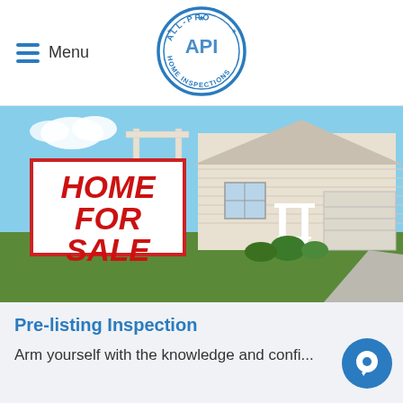Menu
[Figure (logo): All-Pro Home Inspections API circular stamp logo in blue]
[Figure (photo): Home For Sale sign in front of a suburban house]
Pre-listing Inspection
Arm yourself with the knowledge and confi...